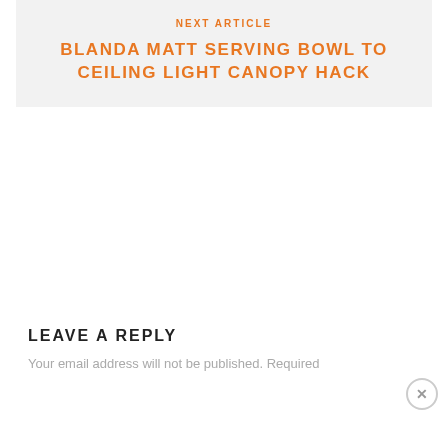NEXT ARTICLE
BLANDA MATT SERVING BOWL TO CEILING LIGHT CANOPY HACK
LEAVE A REPLY
Your email address will not be published. Required